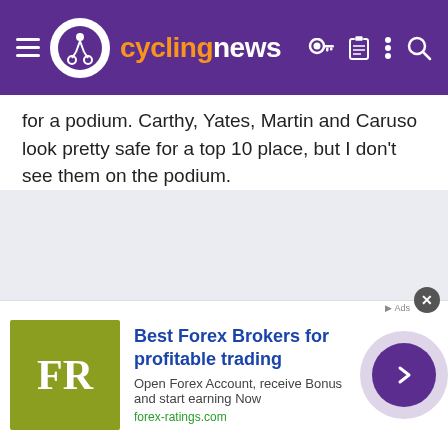cyclingnews
for a podium. Carthy, Yates, Martin and Caruso look pretty safe for a top 10 place, but I don't see them on the podium.
[Figure (screenshot): Advertisement banner for Forex-ratings.com featuring FR logo, headline 'Best Forex Brokers for profitable trading', body text 'Open Forex Account, receive Bonus and start earning Now', URL 'forex-ratings.com', and a purple arrow button.]